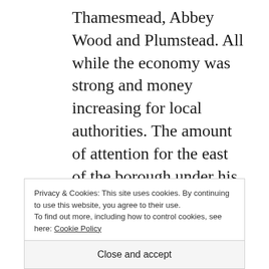Thamesmead, Abbey Wood and Plumstead. All while the economy was strong and money increasing for local authorities. The amount of attention for the east of the borough under his 14 years seemed minimal. They focused on Woolwich to the detriment of elsewhere. Residents and visitors impressions went through the floor due to widespread council neglect of
Privacy & Cookies: This site uses cookies. By continuing to use this website, you agree to their use.
To find out more, including how to control cookies, see here: Cookie Policy
Close and accept